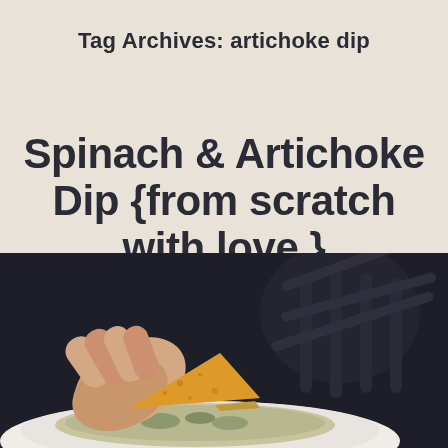Tag Archives: artichoke dip
Spinach & Artichoke Dip {from scratch with love }
[Figure (photo): A hand holding a tortilla chip dipping into a creamy spinach and artichoke dip in a white bowl, dark background with stove grates visible]